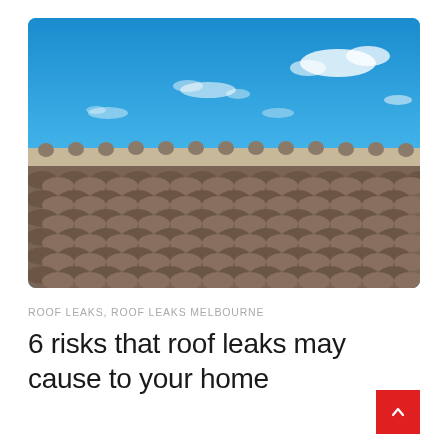[Figure (photo): Photograph of terracotta/concrete roof tiles in the foreground with a bright blue sky and scattered white clouds in the background. The ridge line of the roof runs horizontally across the middle of the image with round clay ridge caps visible along the top edge of the tiled roof.]
ROOF LEAKS, ROOF LEAKS MELBOURNE
6 risks that roof leaks may cause to your home